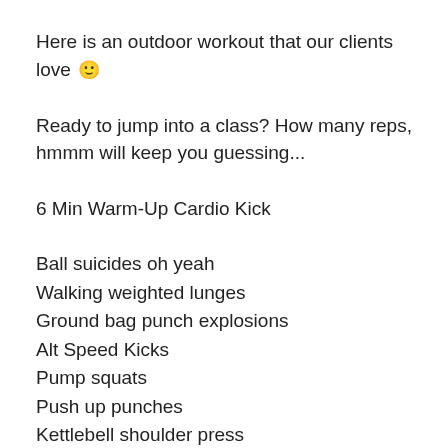Here is an outdoor workout that our clients love 🙂
Ready to jump into a class? How many reps, hmmm will keep you guessing...
6 Min Warm-Up Cardio Kick
Ball suicides oh yeah
Walking weighted lunges
Ground bag punch explosions
Alt Speed Kicks
Pump squats
Push up punches
Kettlebell shoulder press
Where can you get the most intense, fat-burning